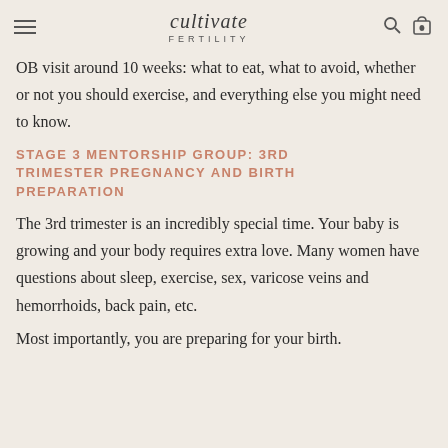cultivate FERTILITY
OB visit around 10 weeks: what to eat, what to avoid, whether or not you should exercise, and everything else you might need to know.
STAGE 3 MENTORSHIP GROUP: 3RD TRIMESTER PREGNANCY AND BIRTH PREPARATION
The 3rd trimester is an incredibly special time. Your baby is growing and your body requires extra love. Many women have questions about sleep, exercise, sex, varicose veins and hemorrhoids, back pain, etc.
Most importantly, you are preparing for your birth.